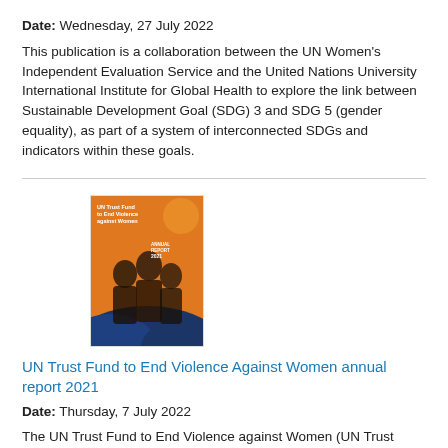Date: Wednesday, 27 July 2022
This publication is a collaboration between the UN Women's Independent Evaluation Service and the United Nations University International Institute for Global Health to explore the link between Sustainable Development Goal (SDG) 3 and SDG 5 (gender equality), as part of a system of interconnected SDGs and indicators within these goals.
[Figure (illustration): Cover image of a report titled 'UN Trust Fund to End Violence against Women ANNUAL REPORT 2021' showing women on an orange and blue background]
UN Trust Fund to End Violence Against Women annual report 2021
Date: Thursday, 7 July 2022
The UN Trust Fund to End Violence against Women (UN Trust Fund) launches its annual report for 2021, the first year of its new Strategic Plan (2021-2025). Despite multiple, overlapping crises, UN Trust Fund grantees continued to pivot and transform their operations to meet the increasing needs of women and girl survivors of violence, including those in marginalized communities